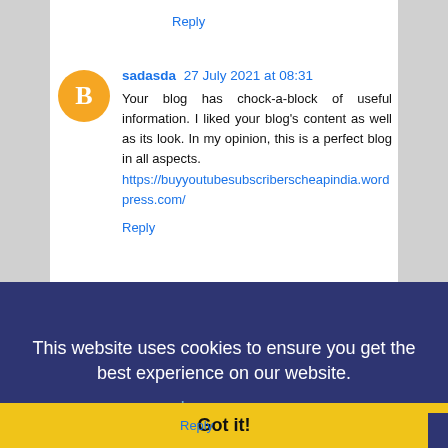Reply
sadasda 27 July 2021 at 08:31
Your blog has chock-a-block of useful information. I liked your blog's content as well as its look. In my opinion, this is a perfect blog in all aspects. https://buyyoutubesubscriberscheapindia.wordpress.com/
Reply
This website uses cookies to ensure you get the best experience on our website. Learn more
Got it!
Reply